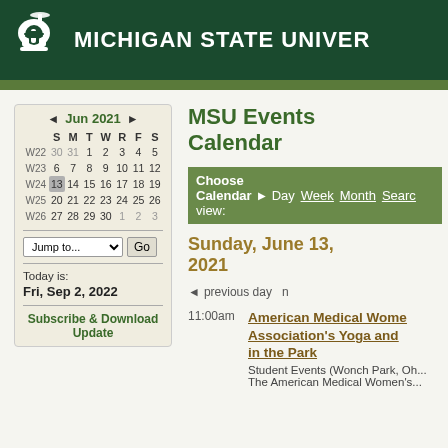MICHIGAN STATE UNIVERSITY
MSU Events Calendar
[Figure (other): Calendar widget showing June 2021 with week numbers. Week 22: 30,31,1,2,3,4,5. Week 23: 6,7,8,9,10,11,12. Week 24: 13(highlighted),14,15,16,17,18,19. Week 25: 20,21,22,23,24,25,26. Week 26: 27,28,29,30,1,2,3.]
Today is:
Fri, Sep 2, 2022
Subscribe & Download Update
Choose Calendar view: Day Week Month Search
Sunday, June 13, 2021
previous day
11:00am
American Medical Women's Association's Yoga and ... in the Park
Student Events (Wonch Park, Oh...
The American Medical Women's...